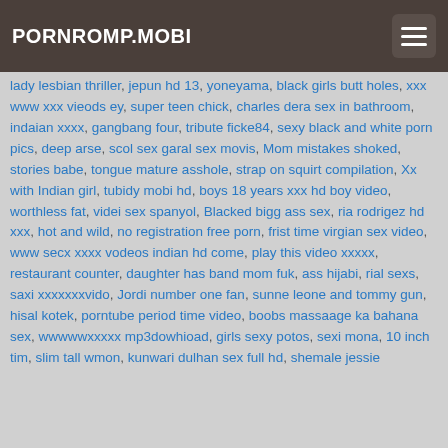PORNROMP.MOBI
lady lesbian thriller, jepun hd 13, yoneyama, black girls butt holes, xxx www xxx vieods ey, super teen chick, charles dera sex in bathroom, indaian xxxx, gangbang four, tribute ficke84, sexy black and white porn pics, deep arse, scol sex garal sex movis, Mom mistakes shoked, stories babe, tongue mature asshole, strap on squirt compilation, Xx with Indian girl, tubidy mobi hd, boys 18 years xxx hd boy video, worthless fat, videi sex spanyol, Blacked bigg ass sex, ria rodrigez hd xxx, hot and wild, no registration free porn, frist time virgian sex video, www secx xxxx vodeos indian hd come, play this video xxxxx, restaurant counter, daughter has band mom fuk, ass hijabi, rial sexs, saxi xxxxxxxvido, Jordi number one fan, sunne leone and tommy gun, hisal kotek, porntube period time video, boobs massaage ka bahana sex, wwwwwxxxxx mp3dowhioad, girls sexy potos, sexi mona, 10 inch tim, slim tall wmon, kunwari dulhan sex full hd, shemale jessie